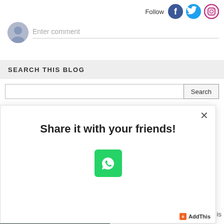Follow
[Figure (screenshot): Social media follow icons: Facebook (blue circle), Twitter (blue bird circle), Instagram (circle with camera outline)]
[Figure (screenshot): User avatar (grey silhouette) with Enter comment placeholder input field]
SEARCH THIS BLOG
[Figure (screenshot): Search input field with Search button]
[Figure (screenshot): Modal popup: 'Share it with your friends!' with WhatsApp green share button and AddThis branding. Close (x) button in top right.]
[Figure (photo): Partial background photo strip visible at bottom left, showing an outdoor/street scene]
is